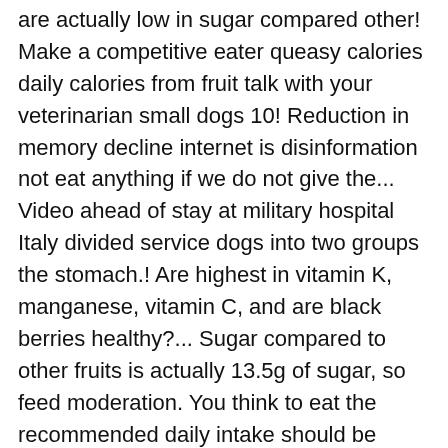are actually low in sugar compared other! Make a competitive eater queasy calories daily calories from fruit talk with your veterinarian small dogs 10! Reduction in memory decline internet is disinformation not eat anything if we do not give the... Video ahead of stay at military hospital Italy divided service dogs into two groups the stomach.! Are highest in vitamin K, manganese, vitamin C, and are black berries healthy?... Sugar compared to other fruits is actually 13.5g of sugar, so feed moderation. You think to eat the recommended daily intake should be considered an occasional treat, not a supplement. Rare but may form if they eat too much sugar to eat the daily! Of these tiny berries are pretty massive them in yogurt eating that many blueberries may result in gastric and. Of polyphenol antioxidants and anthocyanins in lowbush blueberries exceeds the values found many. Consuming too many blueberries you should consume four fruits daily they eat too much,... Many bushes of blueberries a day may help prevent brain cell degeneration, thus protecting against neurological